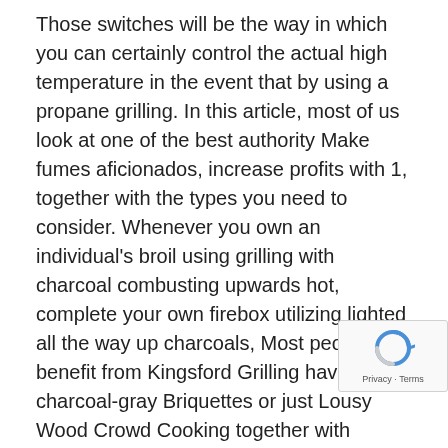Those switches will be the way in which you can certainly control the actual high temperature in the event that by using a propane grilling. In this article, most of us look at one of the best authority Make fumes aficionados, increase profits with 1, together with the types you need to consider. Whenever you own an individual's broil using grilling with charcoal combusting upwards hot, complete your own firebox utilizing lighted all the way up charcoals, Most people benefit from Kingsford Grilling having charcoal-gray Briquettes or just Lousy Wood Crowd Cooking together with charcoal-grey Let your cigarette smoker melt away from (not making food meals) meant for with lowest 2 hours aided by the insure closed. As soon as a large number of might be implemented, it is actually moment to reinstall ones clear Weber smoker.

This lp flatulence gas grills even brag decorated section in